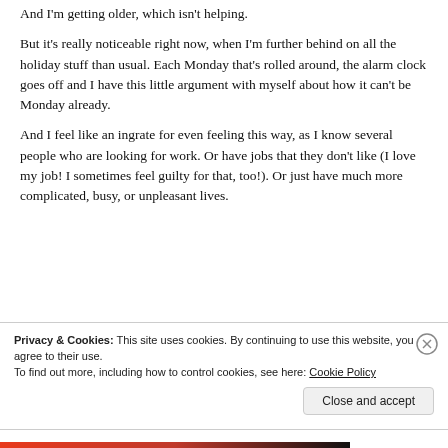And I'm getting older, which isn't helping.
But it's really noticeable right now, when I'm further behind on all the holiday stuff than usual. Each Monday that's rolled around, the alarm clock goes off and I have this little argument with myself about how it can't be Monday already.
And I feel like an ingrate for even feeling this way, as I know several people who are looking for work. Or have jobs that they don't like (I love my job! I sometimes feel guilty for that, too!). Or just have much more complicated, busy, or unpleasant lives.
Privacy & Cookies: This site uses cookies. By continuing to use this website, you agree to their use. To find out more, including how to control cookies, see here: Cookie Policy
Close and accept